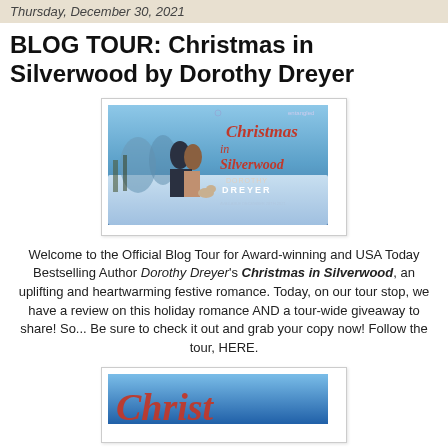Thursday, December 30, 2021
BLOG TOUR: Christmas in Silverwood by Dorothy Dreyer
[Figure (photo): Book cover for Christmas in Silverwood by Dorothy Dreyer showing a couple in winter snow scene with the book title in red script lettering]
Welcome to the Official Blog Tour for Award-winning and USA Today Bestselling Author Dorothy Dreyer's Christmas in Silverwood, an uplifting and heartwarming festive romance. Today, on our tour stop, we have a review on this holiday romance AND a tour-wide giveaway to share! So... Be sure to check it out and grab your copy now! Follow the tour, HERE.
[Figure (photo): Partial view of the Christmas in Silverwood book cover showing the title text in red script]